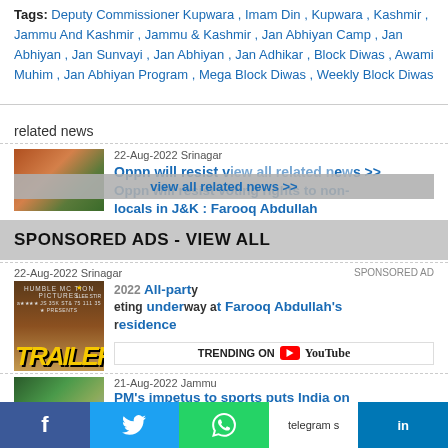Tags: Deputy Commissioner Kupwara , Imam Din , Kupwara , Kashmir , Jammu And Kashmir , Jammu & Kashmir , Jan Abhiyan Camp , Jan Abhiyan , Jan Sunvayi , Jan Abhiyan , Jan Adhikar , Block Diwas , Awami Muhim , Jan Abhiyan Program , Mega Block Diwas , Weekly Block Diwas
related news
view all related news >>
22-Aug-2022 Srinagar
Oppn will resist voting rights to non-locals in J&K : Farooq Abdullah
[Figure (other): Sponsored ads banner: SPONSORED ADS - VIEW ALL]
22-Aug-2022 Srinagar
SPONSORED AD
All-party meeting underway at Farooq Abdullah's residence
[Figure (other): Movie trailer overlay with TRENDING ON YouTube banner]
21-Aug-2022 Jammu
PM's impetus to sports puts India on
[Figure (photo): Group photo placeholder for sports news item]
f  Twitter  WhatsApp  telegram  in